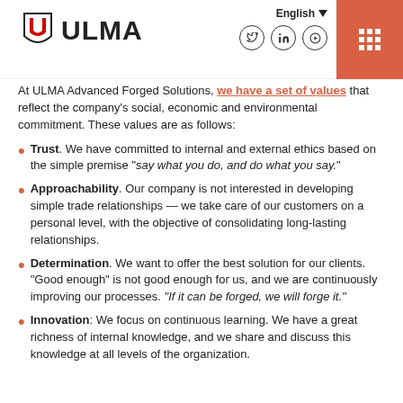ULMA | English
At ULMA Advanced Forged Solutions, we have a set of values that reflect the company's social, economic and environmental commitment. These values are as follows:
Trust. We have committed to internal and external ethics based on the simple premise "say what you do, and do what you say."
Approachability. Our company is not interested in developing simple trade relationships — we take care of our customers on a personal level, with the objective of consolidating long-lasting relationships.
Determination. We want to offer the best solution for our clients. "Good enough" is not good enough for us, and we are continuously improving our processes. "If it can be forged, we will forge it."
Innovation: We focus on continuous learning. We have a great richness of internal knowledge, and we share and discuss this knowledge at all levels of the organization.